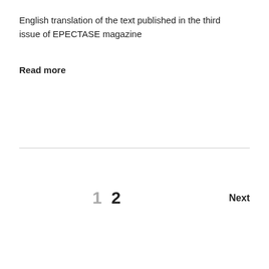English translation of the text published in the third issue of EPECTASE magazine
Read more
1  2  Next